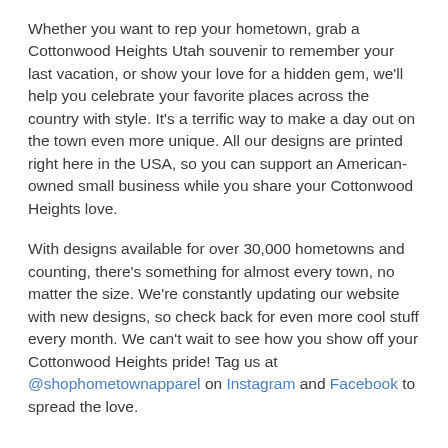Whether you want to rep your hometown, grab a Cottonwood Heights Utah souvenir to remember your last vacation, or show your love for a hidden gem, we'll help you celebrate your favorite places across the country with style. It's a terrific way to make a day out on the town even more unique. All our designs are printed right here in the USA, so you can support an American-owned small business while you share your Cottonwood Heights love.
With designs available for over 30,000 hometowns and counting, there's something for almost every town, no matter the size. We're constantly updating our website with new designs, so check back for even more cool stuff every month. We can't wait to see how you show off your Cottonwood Heights pride! Tag us at @shophometownapparel on Instagram and Facebook to spread the love.